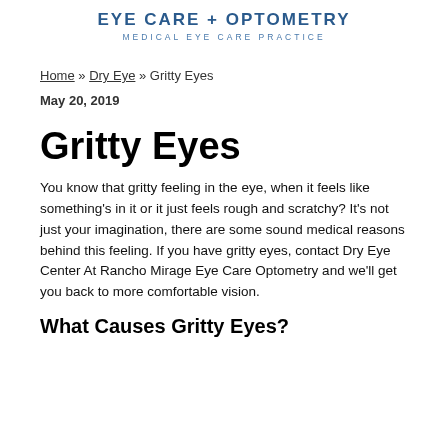EYE CARE + OPTOMETRY
MEDICAL EYE CARE PRACTICE
Home » Dry Eye » Gritty Eyes
May 20, 2019
Gritty Eyes
You know that gritty feeling in the eye, when it feels like something's in it or it just feels rough and scratchy? It's not just your imagination, there are some sound medical reasons behind this feeling. If you have gritty eyes, contact Dry Eye Center At Rancho Mirage Eye Care Optometry and we'll get you back to more comfortable vision.
What Causes Gritty Eyes?